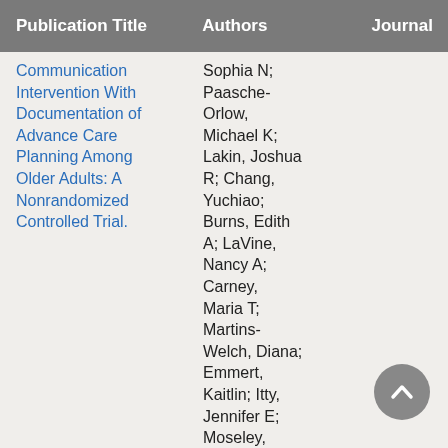| Publication Title | Authors | Journal |
| --- | --- | --- |
| Communication Intervention With Documentation of Advance Care Planning Among Older Adults: A Nonrandomized Controlled Trial. | Sophia N; Paasche-Orlow, Michael K; Lakin, Joshua R; Chang, Yuchiao; Burns, Edith A; LaVine, Nancy A; Carney, Maria T; Martins-Welch, Diana; Emmert, Kaitlin; Itty, Jennifer E; Moseley, Edward T; Davis, Aretha |  |